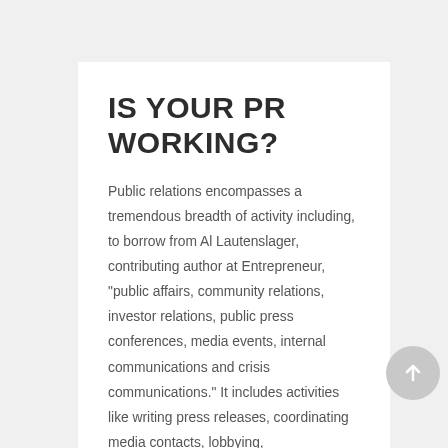IS YOUR PR WORKING?
Public relations encompasses a tremendous breadth of activity including, to borrow from Al Lautenslager, contributing author at Entrepreneur, "public affairs, community relations, investor relations, public press conferences, media events, internal communications and crisis communications." It includes activities like writing press releases, coordinating media contacts, lobbying,